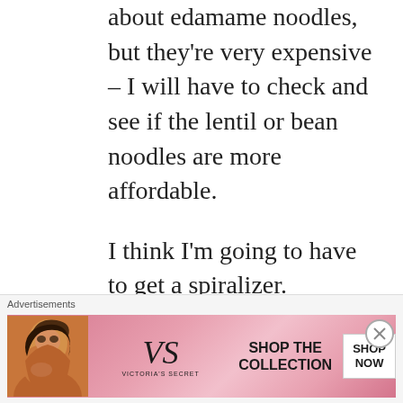about edamame noodles, but they're very expensive – I will have to check and see if the lentil or bean noodles are more affordable.
I think I'm going to have to get a spiralizer. Zucchini noodles sound fantastic, but the carrot noodles sound very, very good too.
[Figure (screenshot): Victoria's Secret advertisement banner with model photo, VS logo, 'SHOP THE COLLECTION' text, and 'SHOP NOW' button on pink background]
Advertisements